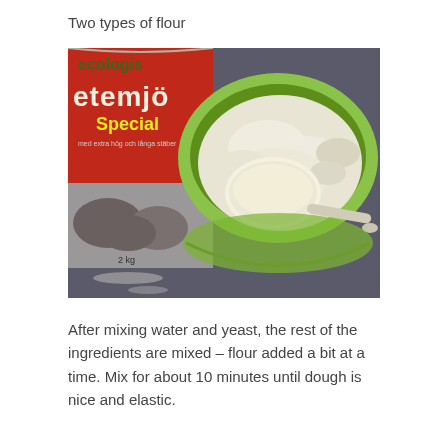Two types of flour
[Figure (photo): A green mixing bowl containing flour with a plastic measuring scoop, next to a red 2kg bag of 'etemjöl Special' (spelt flour), on a dark surface.]
After mixing water and yeast, the rest of the ingredients are mixed – flour added a bit at a time. Mix for about 10 minutes until dough is nice and elastic.